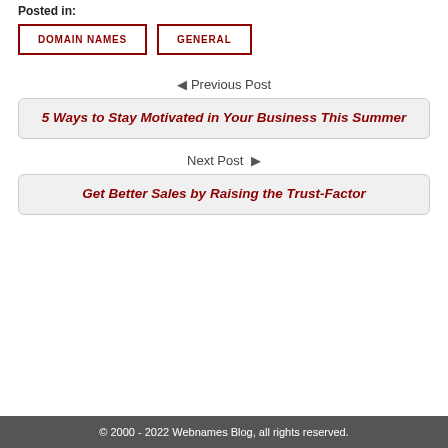Posted in:
DOMAIN NAMES
GENERAL
◄ Previous Post
5 Ways to Stay Motivated in Your Business This Summer
Next Post ►
Get Better Sales by Raising the Trust-Factor
© 2000 - 2022 Webnames Blog, all rights reserved.